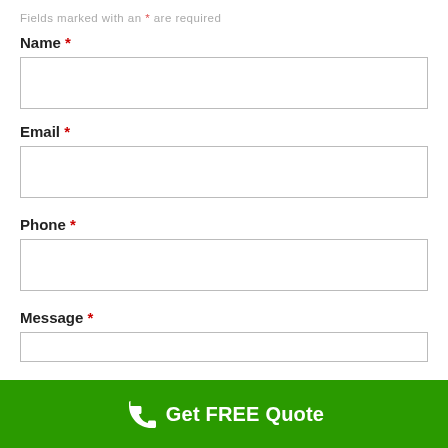Fields marked with an * are required
Name *
[Figure (other): Empty text input box for Name field]
Email *
[Figure (other): Empty text input box for Email field]
Phone *
[Figure (other): Empty text input box for Phone field]
Message *
[Figure (other): Empty text input box for Message field (partially visible)]
Get FREE Quote